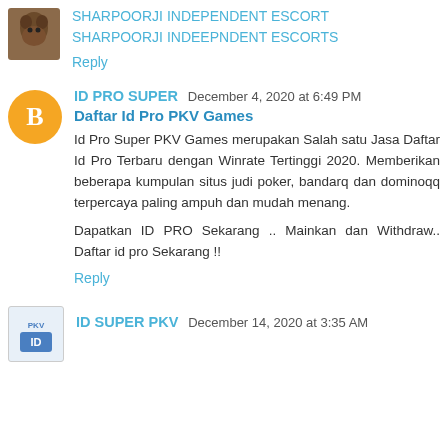[Figure (photo): Small animal avatar image in top left]
SHARPOORJI INDEPENDENT ESCORT
SHARPOORJI INDEEPNDENT ESCORTS
Reply
[Figure (illustration): Orange circle avatar with blogger 'B' icon]
ID PRO SUPER  December 4, 2020 at 6:49 PM
Daftar Id Pro PKV Games
Id Pro Super PKV Games merupakan Salah satu Jasa Daftar Id Pro Terbaru dengan Winrate Tertinggi 2020. Memberikan beberapa kumpulan situs judi poker, bandarq dan dominoqq terpercaya paling ampuh dan mudah menang.
Dapatkan ID PRO Sekarang .. Mainkan dan Withdraw.. Daftar id pro Sekarang !!
Reply
[Figure (logo): ID Super PKV logo/avatar]
ID SUPER PKV  December 14, 2020 at 3:35 AM